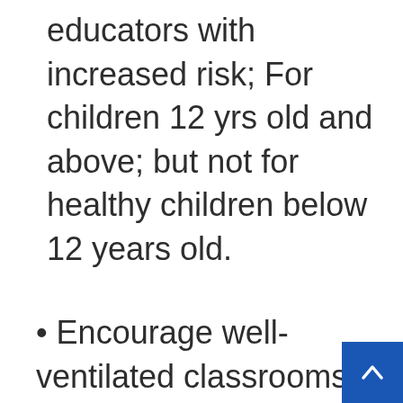educators with increased risk; For children 12 yrs old and above; but not for healthy children below 12 years old.
Encourage well-ventilated classrooms